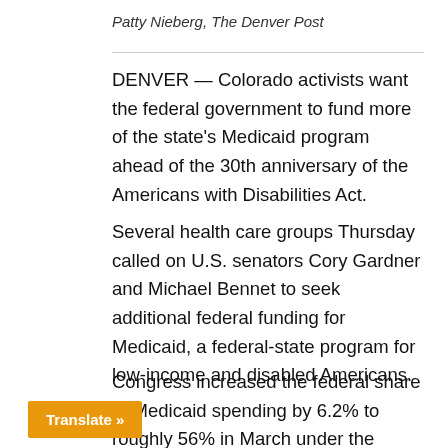Patty Nieberg, The Denver Post
DENVER — Colorado activists want the federal government to fund more of the state's Medicaid program ahead of the 30th anniversary of the Americans with Disabilities Act.
Several health care groups Thursday called on U.S. senators Cory Gardner and Michael Bennet to seek additional federal funding for Medicaid, a federal-state program for low-income and disabled Americans.
Congress increased the federal share of Medicaid spending by 6.2% to roughly 56% in March under the Families